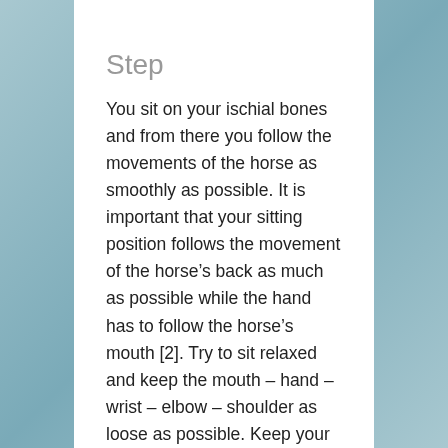Step
You sit on your ischial bones and from there you follow the movements of the horse as smoothly as possible. It is important that your sitting position follows the movement of the horse’s back as much as possible while the hand has to follow the horse’s mouth [2]. Try to sit relaxed and keep the mouth – hand – wrist – elbow – shoulder as loose as possible. Keep your shoulder belt as relaxed as possible and breathe from your stomach, not your chest.